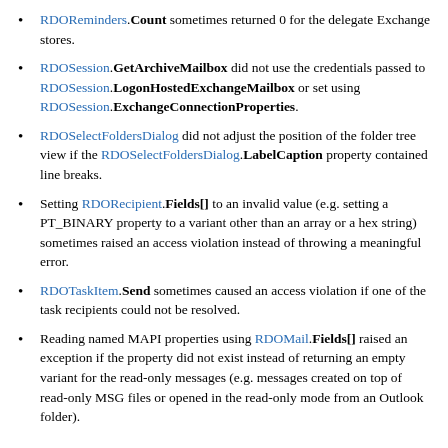RDOReminders.Count sometimes returned 0 for the delegate Exchange stores.
RDOSession.GetArchiveMailbox did not use the credentials passed to RDOSession.LogonHostedExchangeMailbox or set using RDOSession.ExchangeConnectionProperties.
RDOSelectFoldersDialog did not adjust the position of the folder tree view if the RDOSelectFoldersDialog.LabelCaption property contained line breaks.
Setting RDORecipient.Fields[] to an invalid value (e.g. setting a PT_BINARY property to a variant other than an array or a hex string) sometimes raised an access violation instead of throwing a meaningful error.
RDOTaskItem.Send sometimes caused an access violation if one of the task recipients could not be resolved.
Reading named MAPI properties using RDOMail.Fields[] raised an exception if the property did not exist instead of returning an empty variant for the read-only messages (e.g. messages created on top of read-only MSG files or opened in the read-only mode from an Outlook folder).